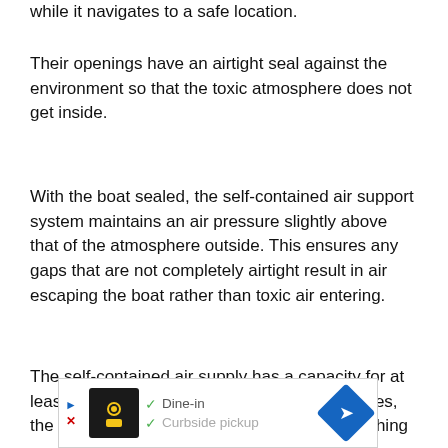while it navigates to a safe location.
Their openings have an airtight seal against the environment so that the toxic atmosphere does not get inside.
With the boat sealed, the self-contained air support system maintains an air pressure slightly above that of the atmosphere outside. This ensures any gaps that are not completely airtight result in air escaping the boat rather than toxic air entering.
The self-contained air supply has a capacity for at least 10 minutes of operation. Within 10 minutes, the boat should be able to steam through anything
[Figure (other): Advertisement banner showing a restaurant with dine-in and curbside pickup options, with a navigation arrow icon]